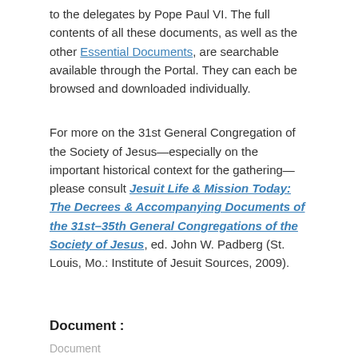to the delegates by Pope Paul VI. The full contents of all these documents, as well as the other Essential Documents, are searchable available through the Portal. They can each be browsed and downloaded individually.
For more on the 31st General Congregation of the Society of Jesus—especially on the important historical context for the gathering—please consult Jesuit Life & Mission Today: The Decrees & Accompanying Documents of the 31st–35th General Congregations of the Society of Jesus, ed. John W. Padberg (St. Louis, Mo.: Institute of Jesuit Sources, 2009).
Document :
Document